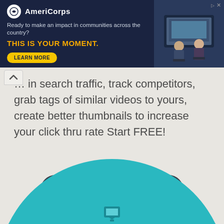[Figure (screenshot): AmeriCorps advertisement banner with dark navy background. Logo with white circle and AmeriCorps branding. Text reads: 'Ready to make an impact in communities across the country? THIS IS YOUR MOMENT.' with a yellow LEARN MORE button. Right side shows photo of people at computers.]
... in search traffic, track competitors, grab tags of similar videos to yours, create better thumbnails to increase your click thru rate Start FREE!
GET VIDIQ FREE!
[Figure (illustration): Teal/turquoise large circle partially visible at the bottom of the page, with a small icon at the bottom center]